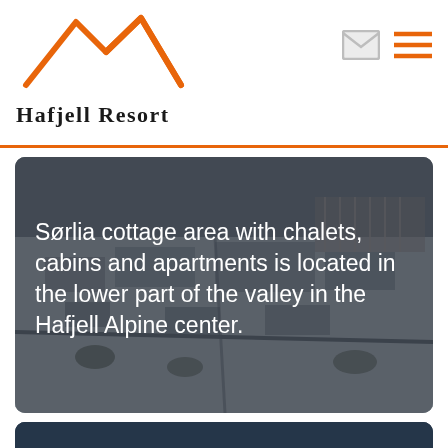Hafjell Resort
[Figure (photo): Aerial winter photo of Sørlia cottage area at Hafjell Alpine center with text overlay: Sørlia cottage area with chalets, cabins and apartments is located in the lower part of the valley in the Hafjell Alpine center.]
[Figure (photo): Winter mountain photo showing cable car gondola lift at Hafjell ski resort with snowy slopes, partially visible text at bottom.]